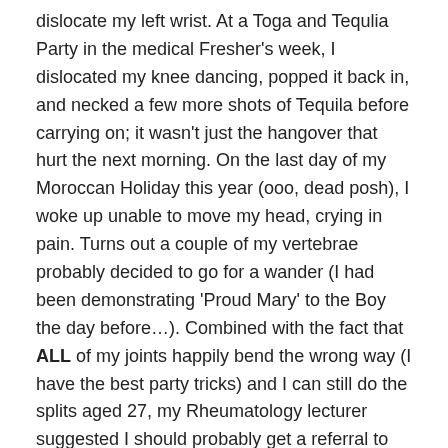dislocate my left wrist. At a Toga and Tequlia Party in the medical Fresher's week, I dislocated my knee dancing, popped it back in, and necked a few more shots of Tequila before carrying on; it wasn't just the hangover that hurt the next morning. On the last day of my Moroccan Holiday this year (ooo, dead posh), I woke up unable to move my head, crying in pain. Turns out a couple of my vertebrae probably decided to go for a wander (I had been demonstrating 'Proud Mary' to the Boy the day before…). Combined with the fact that ALL of my joints happily bend the wrong way (I have the best party tricks) and I can still do the splits aged 27, my Rheumatology lecturer suggested I should probably get a referral to see one of her buddies. Given I've been having chronic knee pain for over a year now (and in my insanity, ran a half marathon on them), I thought I'd give it a go.